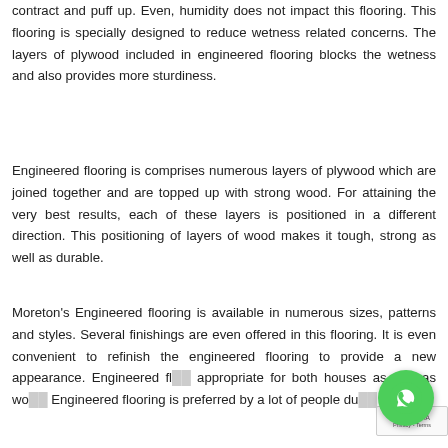contract and puff up. Even, humidity does not impact this flooring. This flooring is specially designed to reduce wetness related concerns. The layers of plywood included in engineered flooring blocks the wetness and also provides more sturdiness.
Engineered flooring is comprises numerous layers of plywood which are joined together and are topped up with strong wood. For attaining the very best results, each of these layers is positioned in a different direction. This positioning of layers of wood makes it tough, strong as well as durable.
Moreton's Engineered flooring is available in numerous sizes, patterns and styles. Several finishings are even offered in this flooring. It is even convenient to refinish the engineered flooring to provide a new appearance. Engineered fl... appropriate for both houses as well as wo... Engineered flooring is preferred by a lot of people du...